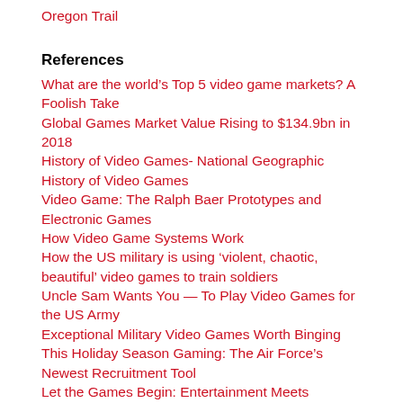Oregon Trail
References
What are the world's Top 5 video game markets? A Foolish Take
Global Games Market Value Rising to $134.9bn in 2018
History of Video Games- National Geographic
History of Video Games
Video Game: The Ralph Baer Prototypes and Electronic Games
How Video Game Systems Work
How the US military is using ‘violent, chaotic, beautiful’ video games to train soldiers
Uncle Sam Wants You — To Play Video Games for the US Army
Exceptional Military Video Games Worth Binging This Holiday Season Gaming: The Air Force’s Newest Recruitment Tool
Let the Games Begin: Entertainment Meets Education
Video games, once confiscated in class, are now a key teaching tool — if they’re done right